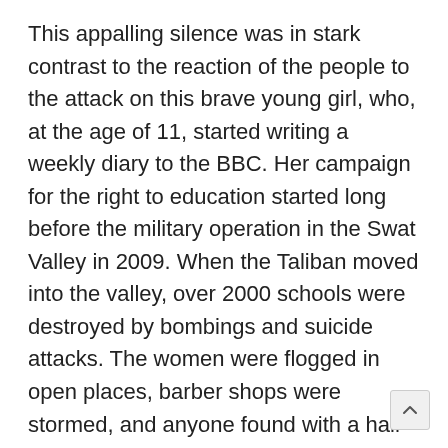This appalling silence was in stark contrast to the reaction of the people to the attack on this brave young girl, who, at the age of 11, started writing a weekly diary to the BBC. Her campaign for the right to education started long before the military operation in the Swat Valley in 2009. When the Taliban moved into the valley, over 2000 schools were destroyed by bombings and suicide attacks. The women were flogged in open places, barber shops were stormed, and anyone found with a hair cut was beaten. All this was done in the name of Shariah. At the age of only 11, it was Malala that said enough is enough and had the courage to speak out. She did this in her limited capacity, but it was enough to frighten the Taliban into taking action. The lava building up inside minds of 180 million people finally erupted after the attack.